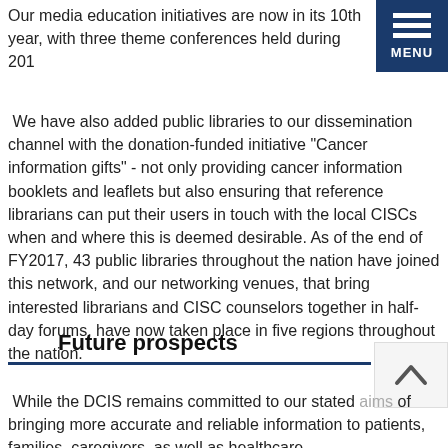Our media education initiatives are now in its 10th year, with three theme conferences held during 201
[Figure (other): Blue MENU button with three horizontal bars icon in top right corner]
We have also added public libraries to our dissemination channel with the donation-funded initiative "Cancer information gifts" - not only providing cancer information booklets and leaflets but also ensuring that reference librarians can put their users in touch with the local CISCs when and where this is deemed desirable. As of the end of FY2017, 43 public libraries throughout the nation have joined this network, and our networking venues, that bring interested librarians and CISC counselors together in half-day forums, have now taken place in five regions throughout the nation.
Future prospects
While the DCIS remains committed to our stated aims of bringing more accurate and reliable information to patients, families, caregivers, as well as healthcare